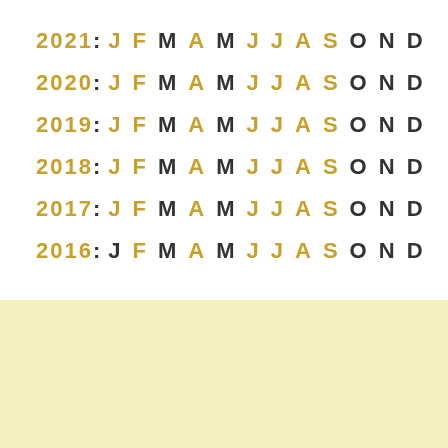2021: J F M A M J J A S O N D
2020: J F M A M J J A S O N D
2019: J F M A M J J A S O N D
2018: J F M A M J J A S O N D
2017: J F M A M J J A S O N D
2016: J F M A M J J A S O N D